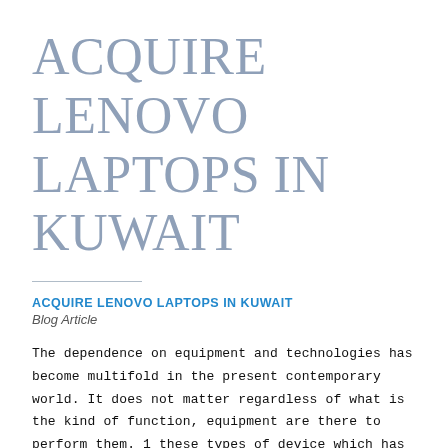ACQUIRE LENOVO LAPTOPS IN KUWAIT
ACQUIRE LENOVO LAPTOPS IN KUWAIT
Blog Article
The dependence on equipment and technologies has become multifold in the present contemporary world. It does not matter regardless of what is the kind of function, equipment are there to perform them. 1 these types of device which has revolutionized the planet is Pcs. Computer systems have simplified our lives and